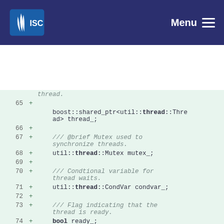ISC Menu
Code diff showing lines 65-77 of a C++ source file with thread-related member variable declarations including thread_, mutex_, condvar_, ready_, and stopping_.